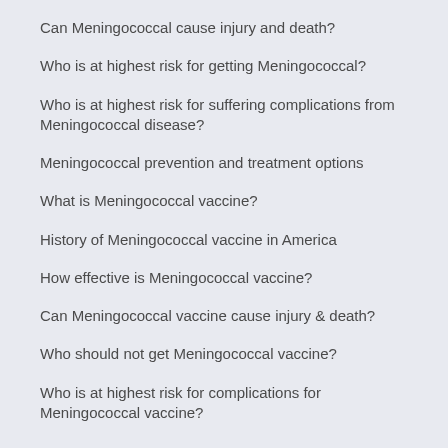Can Meningococcal cause injury and death?
Who is at highest risk for getting Meningococcal?
Who is at highest risk for suffering complications from Meningococcal disease?
Meningococcal prevention and treatment options
What is Meningococcal vaccine?
History of Meningococcal vaccine in America
How effective is Meningococcal vaccine?
Can Meningococcal vaccine cause injury & death?
Who should not get Meningococcal vaccine?
Who is at highest risk for complications for Meningococcal vaccine?